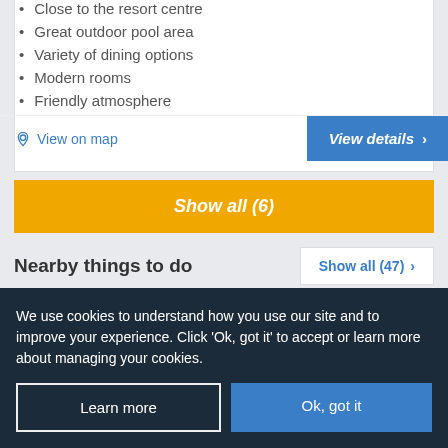Close to the resort centre
Great outdoor pool area
Variety of dining options
Modern rooms
Friendly atmosphere
View on map
View details ›
Show all (6)
Nearby things to do
Show all (47) ›
Tarragon
We use cookies to understand how you use our site and to improve your experience. Click 'Ok, got it' to accept or learn more about managing your cookies.
Learn more
Ok, got it